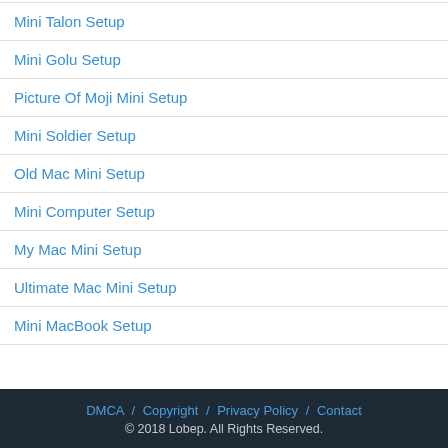Mini Talon Setup
Mini Golu Setup
Picture Of Moji Mini Setup
Mini Soldier Setup
Old Mac Mini Setup
Mini Computer Setup
My Mac Mini Setup
Ultimate Mac Mini Setup
Mini MacBook Setup
DMCA / Copyright / Privacy Policy / Contact © 2018 Lobep. All Rights Reserved.